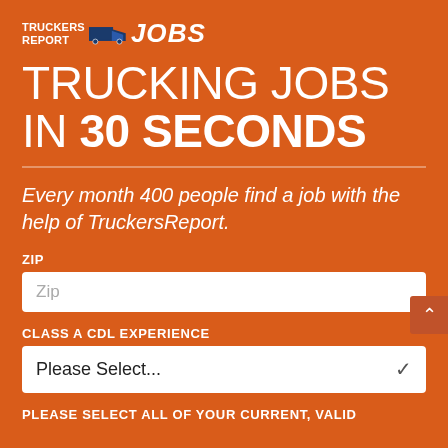[Figure (logo): TruckersReport Jobs logo with truck icon]
TRUCKING JOBS IN 30 SECONDS
Every month 400 people find a job with the help of TruckersReport.
ZIP
Zip
CLASS A CDL EXPERIENCE
Please Select...
PLEASE SELECT ALL OF YOUR CURRENT, VALID